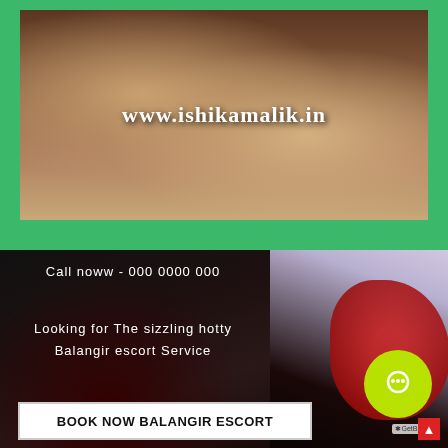[Figure (photo): Woman posing on furniture, promotional image for escort service website]
www.ishikamalik.in
Call noww - 000 0000 000
[Figure (photo): Close-up image of woman in red lace lingerie on dark background]
Looking for The sizzling hotty Balangir escort Service
BOOK NOW BALANGIR ESCORT